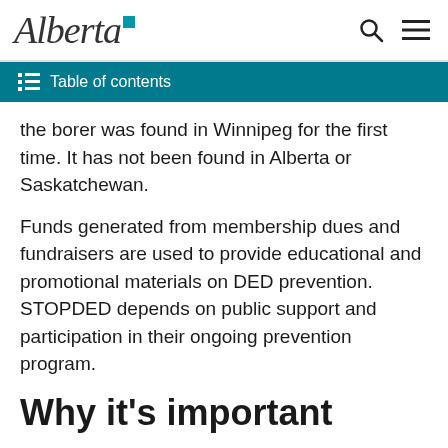Alberta [logo] [search icon] [menu icon]
Table of contents
the borer was found in Winnipeg for the first time. It has not been found in Alberta or Saskatchewan.
Funds generated from membership dues and fundraisers are used to provide educational and promotional materials on DED prevention. STOPDED depends on public support and participation in their ongoing prevention program.
Why it's important
Elm tree populations in Alberta are subject to